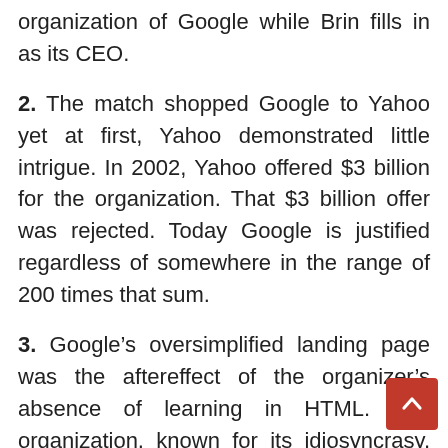organization of Google while Brin fills in as its CEO.
2. The match shopped Google to Yahoo yet at first, Yahoo demonstrated little intrigue. In 2002, Yahoo offered $3 billion for the organization. That $3 billion offer was rejected. Today Google is justified regardless of somewhere in the range of 200 times that sum.
3. Google’s oversimplified landing page was the aftereffect of the organizer’s absence of learning in HTML. The organization, known for its idiosyncrasy, has remained with a basic plan from that point onward. One noteworthy change was made in 2001 when Google focused the substance on the page when it beforehand was